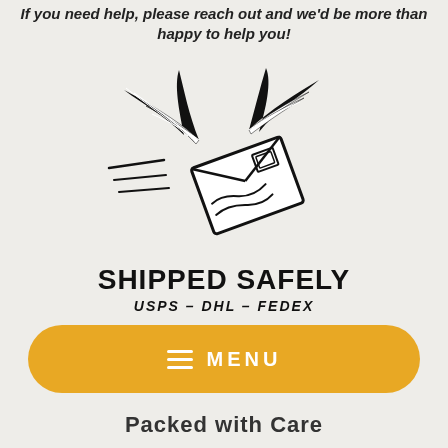If you need help, please reach out and we'd be more than happy to help you!
[Figure (logo): Flying envelope with wings illustration above text SHIPPED SAFELY USPS-DHL-FEDEX]
≡ MENU
Packed with Care